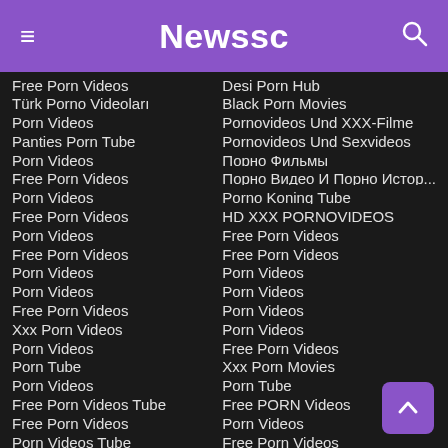Newssc
Free Porn Videos
Türk Porno Videoları
Porn Videos
Panties Porn Tube
Porn Videos
Free Porn Videos
Porn Videos
Free Porn Videos
Porn Videos
Free Porn Videos
Porn Videos
Porn Videos
Free Porn Videos
Xxx Porn Videos
Porn Videos
Porn Tube
Porn Videos
Free Porn Videos Tube
Free Porn Videos
Porn Videos Tube
Desi Porn Hub
Black Porn Movies
Pornovideos Und XXX-Filme
Pornovideos Und Sexvideos
Порно Фильмы
Порно Видео И Порно Истор...
Porno Koning Tube
HD XXX PORNOVIDEOS
Free Porn Videos
Free Porn Videos
Porn Videos
Porn Videos
Porn Videos
Porn Videos
Free Porn Videos
Xxx Porn Movies
Porn Tube
Free PORN Videos
Porn Videos
Free Porn Videos